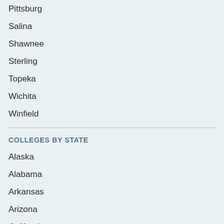Pittsburg
Salina
Shawnee
Sterling
Topeka
Wichita
Winfield
COLLEGES BY STATE
Alaska
Alabama
Arkansas
Arizona
California